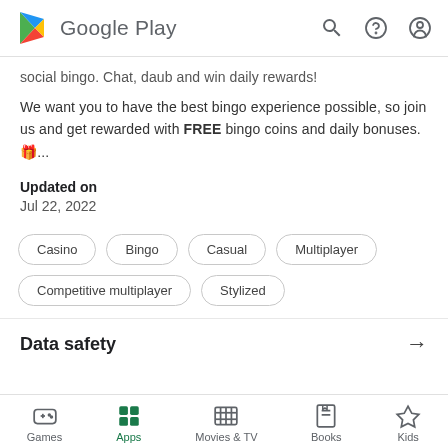Google Play
social bingo. Chat, daub and win daily rewards!
We want you to have the best bingo experience possible, so join us and get rewarded with FREE bingo coins and daily bonuses. 🎁...
Updated on
Jul 22, 2022
Casino
Bingo
Casual
Multiplayer
Competitive multiplayer
Stylized
Data safety
Games  Apps  Movies & TV  Books  Kids